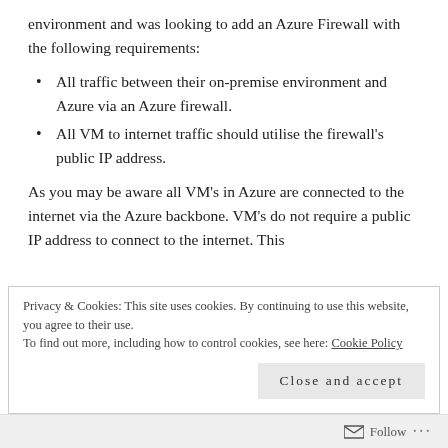environment and was looking to add an Azure Firewall with the following requirements:
All traffic between their on-premise environment and Azure via an Azure firewall.
All VM to internet traffic should utilise the firewall's public IP address.
As you may be aware all VM’s in Azure are connected to the internet via the Azure backbone. VM’s do not require a public IP address to connect to the internet. This
Privacy & Cookies: This site uses cookies. By continuing to use this website, you agree to their use.
To find out more, including how to control cookies, see here: Cookie Policy
Close and accept
Follow ...